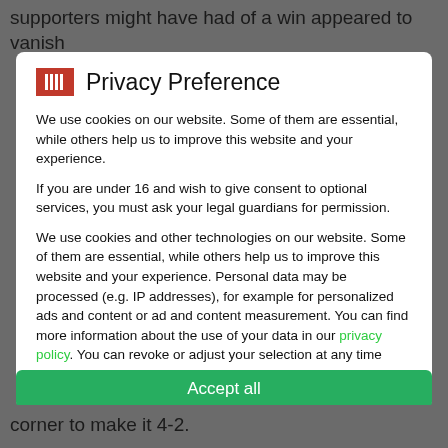supporters might have had of a win appeared to vanish
Privacy Preference
We use cookies on our website. Some of them are essential, while others help us to improve this website and your experience.
If you are under 16 and wish to give consent to optional services, you must ask your legal guardians for permission.
We use cookies and other technologies on our website. Some of them are essential, while others help us to improve this website and your experience. Personal data may be processed (e.g. IP addresses), for example for personalized ads and content or ad and content measurement. You can find more information about the use of your data in our privacy policy. You can revoke or adjust your selection at any time under Settings
Essential
Statistics
External Media
Accept all
corner to make it 4-2.